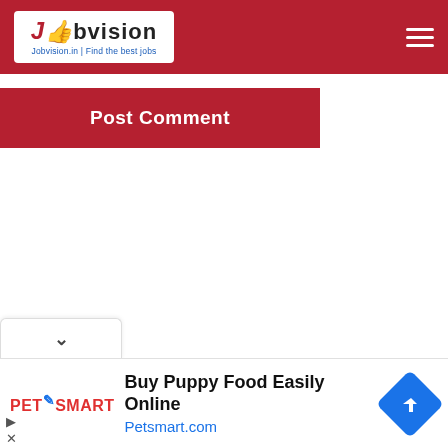Jobvision.in | Find the best jobs
Post Comment
[Figure (other): Dropdown chevron tab UI element]
[Figure (other): PetSmart advertisement banner: Buy Puppy Food Easily Online - Petsmart.com]